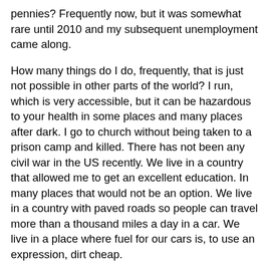pennies? Frequently now, but it was somewhat rare until 2010 and my subsequent unemployment came along.
How many things do I do, frequently, that is just not possible in other parts of the world? I run, which is very accessible, but it can be hazardous to your health in some places and many places after dark. I go to church without being taken to a prison camp and killed. There has not been any civil war in the US recently. We live in a country that allowed me to get an excellent education. In many places that would not be an option. We live in a country with paved roads so people can travel more than a thousand miles a day in a car. We live in a place where fuel for our cars is, to use an expression, dirt cheap.
I live in a time and a place where epidemics of AIDS, cholera, malnutrition, polio, influenza, bubonic plague, lead poisoning, and starvation are not issues for me. My family could survive for weeks on the food in our house. Fresh potable water is just not an issue in this country. There are potable water spickets run by solar power and windmills in some very remote places.